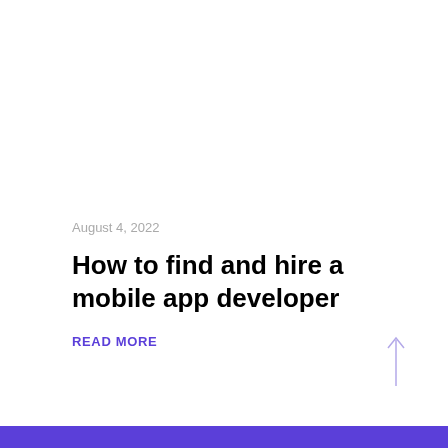August 4, 2022
How to find and hire a mobile app developer
READ MORE